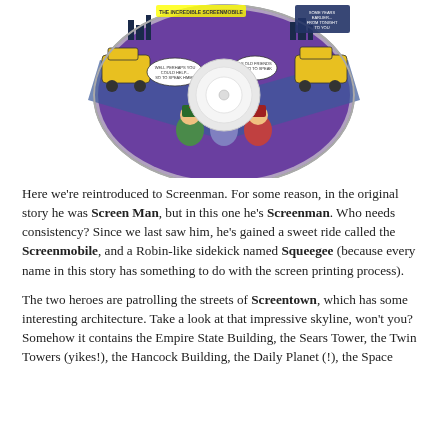[Figure (illustration): A CD/disc with comic book artwork printed on it, featuring superhero characters, vehicles, and speech bubbles on a purple and blue background.]
Here we're reintroduced to Screenman. For some reason, in the original story he was Screen Man, but in this one he's Screenman. Who needs consistency? Since we last saw him, he's gained a sweet ride called the Screenmobile, and a Robin-like sidekick named Squeegee (because every name in this story has something to do with the screen printing process).
The two heroes are patrolling the streets of Screentown, which has some interesting architecture. Take a look at that impressive skyline, won't you? Somehow it contains the Empire State Building, the Sears Tower, the Twin Towers (yikes!), the Hancock Building, the Daily Planet (!), the Space